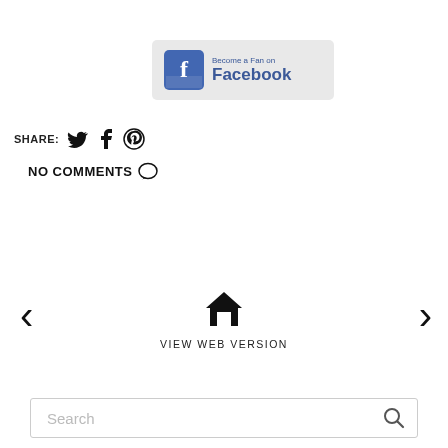[Figure (logo): Become a Fan on Facebook banner with Facebook logo icon and text]
SHARE: [Twitter icon] [Facebook icon] [Pinterest icon]
NO COMMENTS [speech bubble icon]
< [home icon] > VIEW WEB VERSION
Search